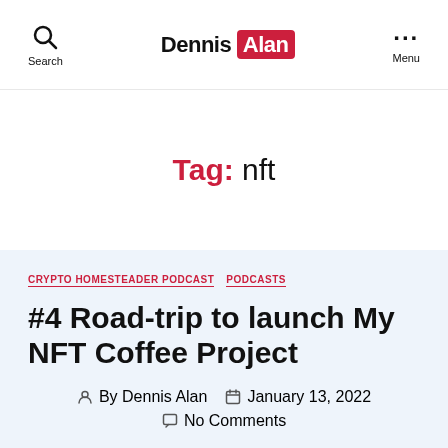Dennis Alan — Search / Menu
Tag: nft
CRYPTO HOMESTEADER PODCAST   PODCASTS
#4 Road-trip to launch My NFT Coffee Project
By Dennis Alan   January 13, 2022   No Comments